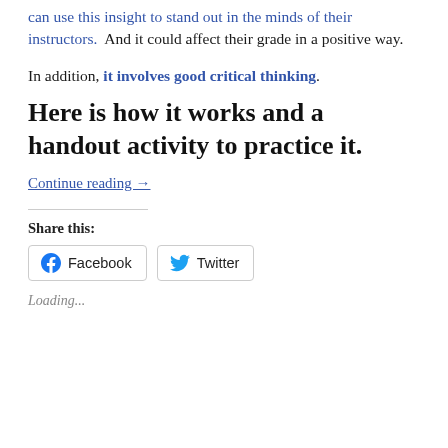...think their studies are fascinating. Thus, the students can use this insight to stand out in the minds of their instructors.  And it could affect their grade in a positive way.
In addition, it involves good critical thinking.
Here is how it works and a handout activity to practice it.
Continue reading →
Share this:
Facebook   Twitter
Loading...